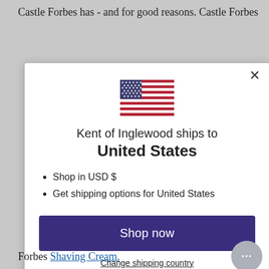Castle Forbes has - and for good reasons. Castle Forbes
[Figure (screenshot): Modal dialog showing US flag and shipping information for Kent of Inglewood shipping to United States, with Shop now button and Change shipping country link]
Forbes Shaving Cream.